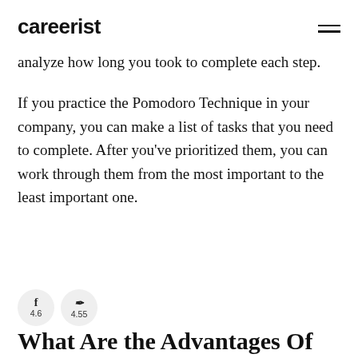careerist
analyze how long you took to complete each step.
If you practice the Pomodoro Technique in your company, you can make a list of tasks that you need to complete. After you've prioritized them, you can work through them from the most important to the least important one.
[Figure (other): Social share buttons showing Facebook icon with count 4.6 and a pen/edit icon with count 4.55]
What Are the Advantages Of